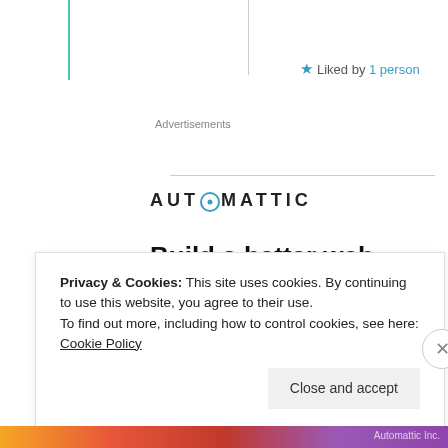★ Liked by 1 person
Advertisements
[Figure (logo): Automattic logo with circular letter O in teal]
Build a better web and a better world.
[Figure (photo): Circular photo of a young man thinking, resting chin on hand]
Apply
Privacy & Cookies: This site uses cookies. By continuing to use this website, you agree to their use. To find out more, including how to control cookies, see here: Cookie Policy
Close and accept